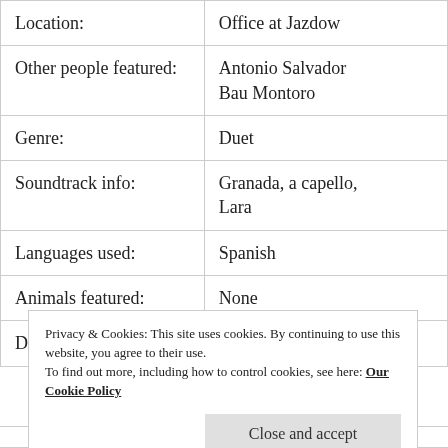|  |  |
| --- | --- |
| Location: | Office at Jazdow |
| Other people featured: | Antonio Salvador
Bau Montoro |
| Genre: | Duet |
| Soundtrack info: | Granada, a capello, Lara |
| Languages used: | Spanish |
| Animals featured: | None |
| Date added here: | 10 October 2010 |
Privacy & Cookies: This site uses cookies. By continuing to use this website, you agree to their use.
To find out more, including how to control cookies, see here: Our Cookie Policy